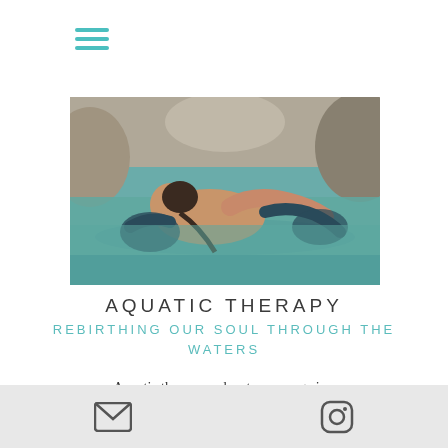[Figure (other): Hamburger menu icon with three teal horizontal lines]
[Figure (photo): Woman being supported in turquoise water with rocky background, receiving aquatic therapy]
AQUATIC THERAPY
REBIRTHING OUR SOUL THROUGH THE WATERS
Aquatic therapy and water massage is a
Footer with email icon and Instagram icon